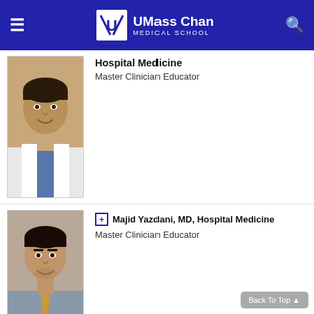UMass Chan Medical School
Hospital Medicine
Master Clinician Educator
[Figure (photo): Headshot photo of a male physician in white coat]
Majid Yazdani, MD, Hospital Medicine
Master Clinician Educator
[Figure (photo): Headshot photo of Majid Yazdani, a male physician with tie]
Jonathan C. Min, MD, Hospital Medicine
Master Clinician Educator
[Figure (photo): Headshot photo of Jonathan C. Min, a male physician in striped shirt]